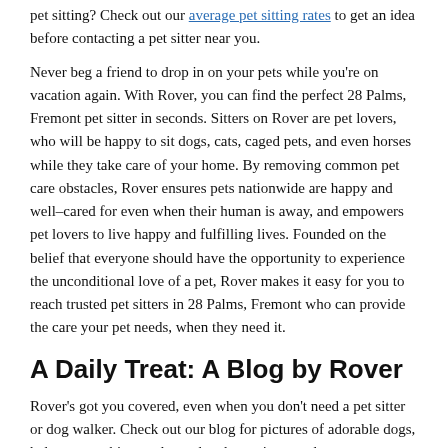pet sitting? Check out our average pet sitting rates to get an idea before contacting a pet sitter near you.
Never beg a friend to drop in on your pets while you're on vacation again. With Rover, you can find the perfect 28 Palms, Fremont pet sitter in seconds. Sitters on Rover are pet lovers, who will be happy to sit dogs, cats, caged pets, and even horses while they take care of your home. By removing common pet care obstacles, Rover ensures pets nationwide are happy and well–cared for even when their human is away, and empowers pet lovers to live happy and fulfilling lives. Founded on the belief that everyone should have the opportunity to experience the unconditional love of a pet, Rover makes it easy for you to reach trusted pet sitters in 28 Palms, Fremont who can provide the care your pet needs, when they need it.
A Daily Treat: A Blog by Rover
Rover's got you covered, even when you don't need a pet sitter or dog walker. Check out our blog for pictures of adorable dogs, help on your biggest dog–related questions, and more:
Top 100 Dog Names and Unique Dog Names, depending on your preference